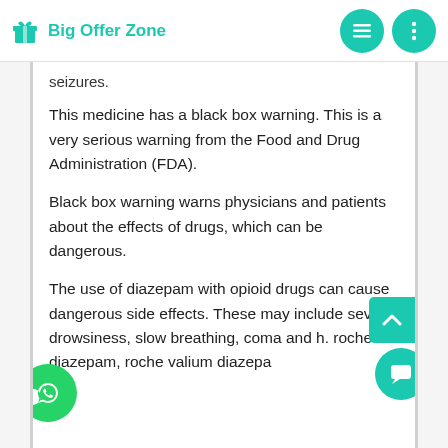Big Offer Zone
seizures.
This medicine has a black box warning. This is a very serious warning from the Food and Drug Administration (FDA).
Black box warning warns physicians and patients about the effects of drugs, which can be dangerous.
The use of diazepam with opioid drugs can cause dangerous side effects. These may include severe drowsiness, slow breathing, coma and h. roche diazepam, roche valium diazepa ng